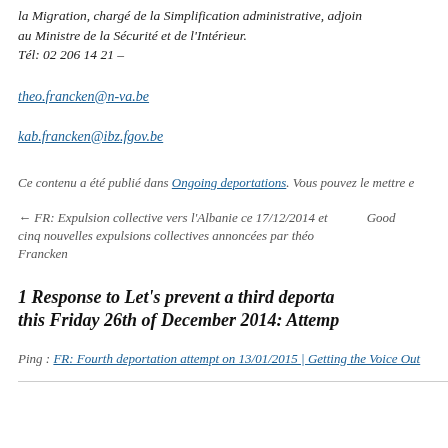la Migration, chargé de la Simplification administrative, adjoin au Ministre de la Sécurité et de l'Intérieur.
Tél: 02 206 14 21 –
theo.francken@n-va.be
kab.francken@ibz.fgov.be
Ce contenu a été publié dans Ongoing deportations. Vous pouvez le mettre e
← FR: Expulsion collective vers l'Albanie ce 17/12/2014 et cinq nouvelles expulsions collectives annoncées par théo Francken     Good
1 Response to Let's prevent a third deporta this Friday 26th of December 2014: Attemp
Ping : FR: Fourth deportation attempt on 13/01/2015 | Getting the Voice Out